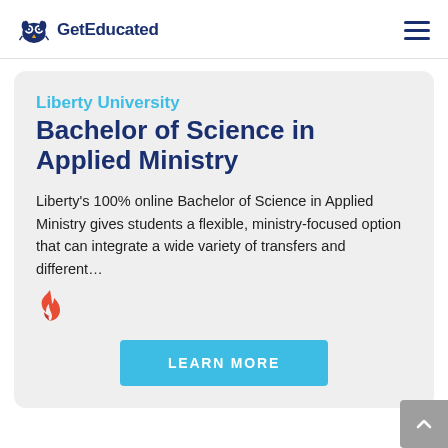GetEducated
Liberty University
Bachelor of Science in Applied Ministry
Liberty's 100% online Bachelor of Science in Applied Ministry gives students a flexible, ministry-focused option that can integrate a wide variety of transfers and different…
LEARN MORE